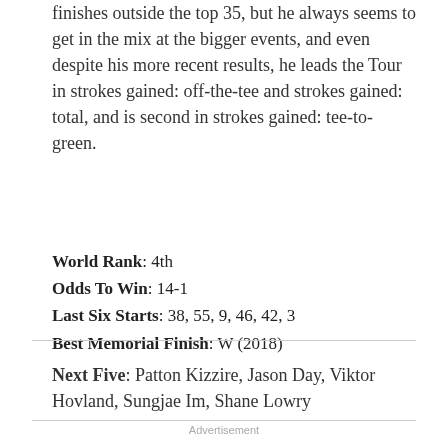finishes outside the top 35, but he always seems to get in the mix at the bigger events, and even despite his more recent results, he leads the Tour in strokes gained: off-the-tee and strokes gained: total, and is second in strokes gained: tee-to-green.
World Rank: 4th
Odds To Win: 14-1
Last Six Starts: 38, 55, 9, 46, 42, 3
Best Memorial Finish: W (2018)
Next Five: Patton Kizzire, Jason Day, Viktor Hovland, Sungjae Im, Shane Lowry
Advertisement